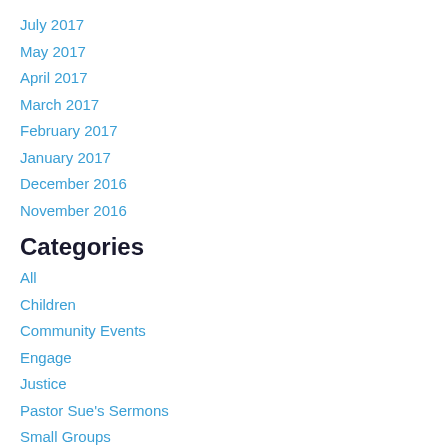July 2017
May 2017
April 2017
March 2017
February 2017
January 2017
December 2016
November 2016
Categories
All
Children
Community Events
Engage
Justice
Pastor Sue's Sermons
Small Groups
Worship
RSS Feed
Connect